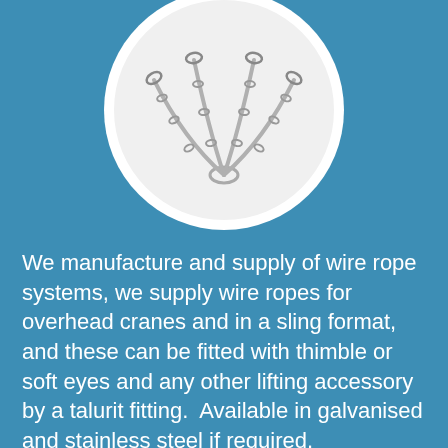[Figure (photo): Circular photo on white background showing wire rope sling chains with carabiners/connectors converging at a central ring, on a light background.]
We manufacture and supply of wire rope systems, we supply wire ropes for overhead cranes and in a sling format, and these can be fitted with thimble or soft eyes and any other lifting accessory by a talurit fitting.  Available in galvanised and stainless steel if required.